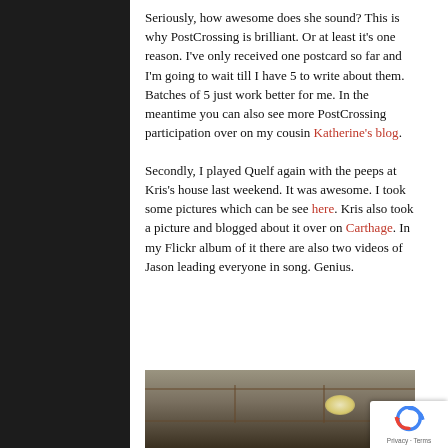Seriously, how awesome does she sound? This is why PostCrossing is brilliant. Or at least it's one reason. I've only received one postcard so far and I'm going to wait till I have 5 to write about them. Batches of 5 just work better for me. In the meantime you can also see more PostCrossing participation over on my cousin Katherine's blog.
Secondly, I played Quelf again with the peeps at Kris's house last weekend. It was awesome. I took some pictures which can be see here. Kris also took a picture and blogged about it over on Carthage. In my Flickr album of it there are also two videos of Jason leading everyone in song. Genius.
[Figure (photo): Indoor photo showing a room with wooden trim, windows/mirrors reflecting a chandelier, and people visible in the lower portion.]